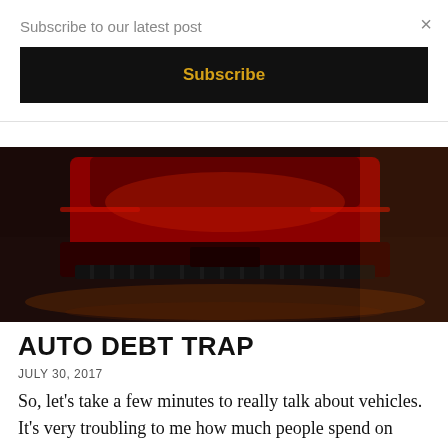Subscribe to our latest post
×
Subscribe
[Figure (photo): Bottom front view of a red sports car on a dark reflective floor with warm ambient lighting]
AUTO DEBT TRAP
JULY 30, 2017
So, let's take a few minutes to really talk about vehicles. It's very troubling to me how much people spend on their vehicles. What's even more troubling is all the reasons I hear why they have to get into so much debt for one and how they had to have that